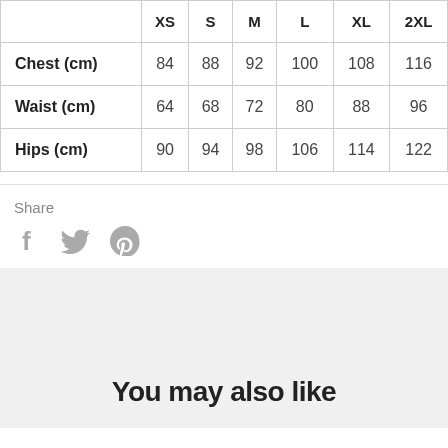|  | XS | S | M | L | XL | 2XL |
| --- | --- | --- | --- | --- | --- | --- |
| Chest (cm) | 84 | 88 | 92 | 100 | 108 | 116 |
| Waist (cm) | 64 | 68 | 72 | 80 | 88 | 96 |
| Hips (cm) | 90 | 94 | 98 | 106 | 114 | 122 |
Share
[Figure (illustration): Social share icons: Facebook (f), Twitter (bird), Pinterest (P)]
You may also like